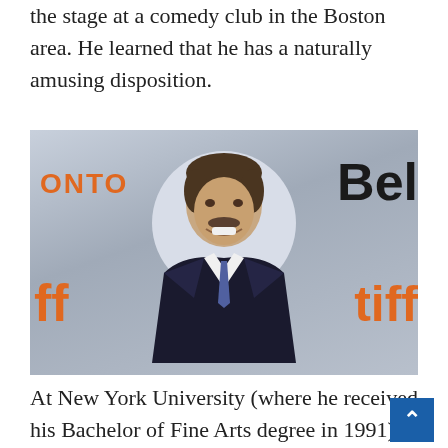the stage at a comedy club in the Boston area. He learned that he has a naturally amusing disposition.
[Figure (photo): Photo of a man (Adam Sandler) smiling at what appears to be a TIFF (Toronto International Film Festival) event, with orange and black TIFF/Bell logos visible in the background. He is wearing a dark suit and tie.]
At New York University (where he received his Bachelor of Fine Arts degree in 1991), he continued to refine his abilities by performing